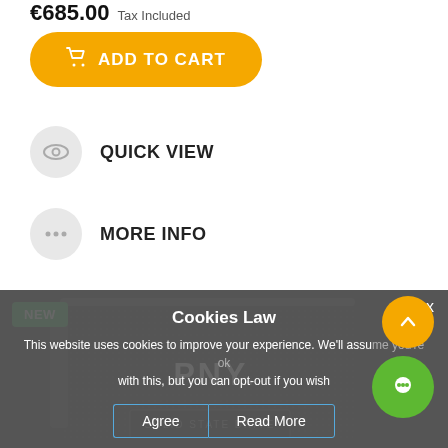€685.00 Tax Included
ADD TO CART
QUICK VIEW
MORE INFO
[Figure (photo): PNY Solid State Drive product photo with NEW badge]
Cookies Law
This website uses cookies to improve your experience. We'll assume you're ok with this, but you can opt-out if you wish
Agree
Read More